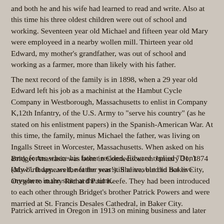and both he and his wife had learned to read and write. Also at this time his three oldest children were out of school and working. Seventeen year old Michael and fifteen year old Mary were employeed in a nearby wollen mill. Thirteen year old Edward, my mother's grandfather, was out of school and working as a farmer, more than likely with his father.
The next record of the family is in 1898, when a 29 year old Edward left his job as a machinist at the Hambut Cycle Company in Westborough, Massachusetts to enlist in Company K,12th Infantry, of the U.S. Army to "serve his country" (as he stated on his enlistment papers) in the Spanish-American War. At this time, the family, minus Michael the father, was living on Ingalls Street in Worcester, Massachusetts. When asked on his army forms where his father resided, Edward replied "Don't know". It appears the father was still alive, but did not live anywhere in the state at the time.
Bridget Anastasia was born in Connecticut on January 31, 1874 (My birthday...well, not the year!). She traveled to Baker City, Oregon to marry Richard Paul Keefe. They had been introduced to each other through Bridget's brother Patrick Powers and were married at St. Francis Desales Cathedral, in Baker City.
Patrick arrived in Oregon in 1913 on mining business and later